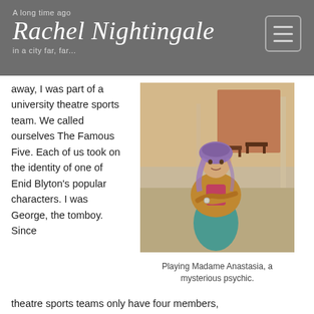Rachel Nightingale
away, I was part of a university theatre sports team. We called ourselves The Famous Five. Each of us took on the identity of one of Enid Blyton's popular characters. I was George, the tomboy. Since theatre sports teams only have four members,
[Figure (photo): A woman wearing a purple headscarf, colorful costume with a golden/brown shawl and teal skirt, arms crossed, standing outdoors. She appears to be in costume as Madame Anastasia.]
Playing Madame Anastasia, a mysterious psychic.
theatre sports teams only have four members,